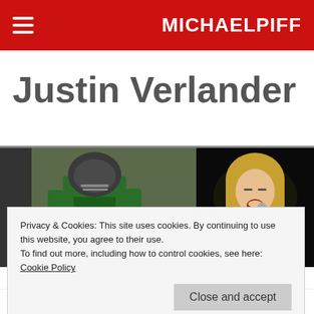MICHAELPIFF
Justin Verlander
[Figure (photo): Two side-by-side images: left shows a Baylor football player in green jersey and helmet, right shows a blonde female singer performing with microphone in dark background]
Privacy & Cookies: This site uses cookies. By continuing to use this website, you agree to their use.
To find out more, including how to control cookies, see here: Cookie Policy
Close and accept
Follow